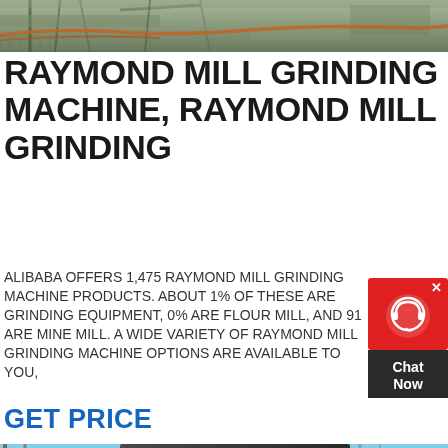[Figure (photo): Top portion of industrial/construction site, partial view, outdoor setting with machinery and equipment visible against sky]
RAYMOND MILL GRINDING MACHINE, RAYMOND MILL GRINDING
ALIBABA OFFERS 1,475 RAYMOND MILL GRINDING MACHINE PRODUCTS. ABOUT 1% OF THESE ARE GRINDING EQUIPMENT, 0% ARE FLOUR MILL, AND 91 ARE MINE MILL. A WIDE VARIETY OF RAYMOND MILL GRINDING MACHINE OPTIONS ARE AVAILABLE TO YOU,
GET PRICE
[Figure (photo): Large industrial Raymond Mill grinding machine, dark grey/black metal construction with orange wheel/flywheel visible, blue sky background, outdoor industrial setting]